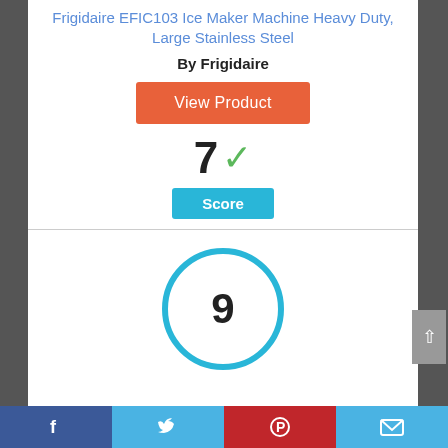Frigidaire EFIC103 Ice Maker Machine Heavy Duty, Large Stainless Steel
By Frigidaire
View Product
7 ✓
Score
[Figure (other): A circular score badge with the number 9 inside, outlined in blue]
Facebook | Twitter | Pinterest | Email